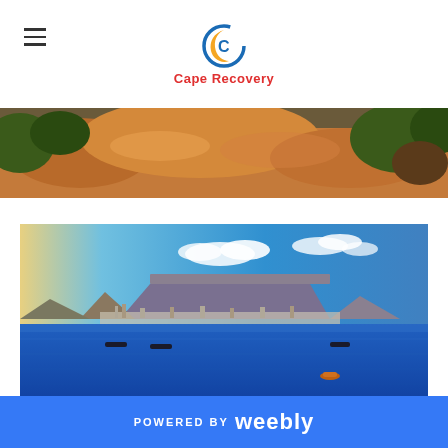Cape Recovery
[Figure (photo): Aerial landscape photo showing rocky terrain with orange/brown rocks and green vegetation, partially cropped at top]
[Figure (photo): Aerial photo of Cape Town with Table Mountain in the background, blue ocean in foreground with small boats]
POWERED BY weebly